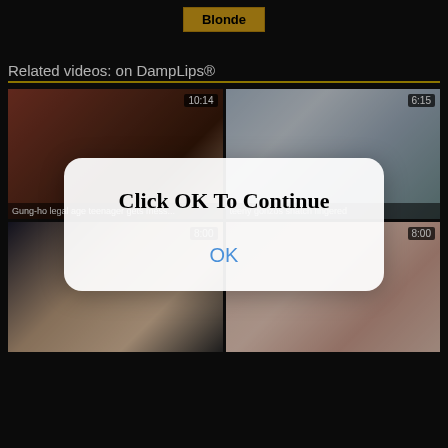[Figure (screenshot): Blonde button/tag on dark background]
Related videos: on DampLips®
[Figure (screenshot): Video thumbnail 1: duration 10:14, title 'Gung-ho legal age teenager gets mess...']
[Figure (screenshot): Video thumbnail 2: duration 6:15, title 'teeny gonzos snatch fingered']
[Figure (screenshot): Video thumbnail 3: duration 8:00]
[Figure (screenshot): Video thumbnail 4: duration 8:00]
Click OK To Continue
OK